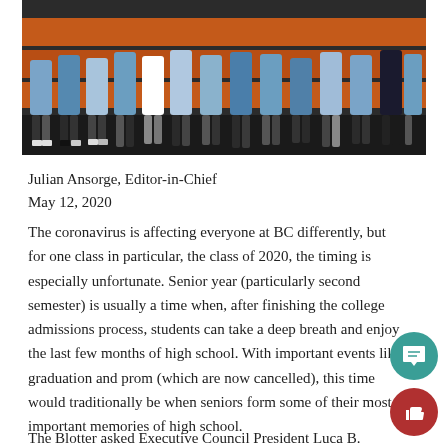[Figure (photo): Group photo showing the lower bodies and legs of many students standing in a row in front of bleachers with orange and black coloring.]
Julian Ansorge, Editor-in-Chief
May 12, 2020
The coronavirus is affecting everyone at BC differently, but for one class in particular, the class of 2020, the timing is especially unfortunate. Senior year (particularly second semester) is usually a time when, after finishing the college admissions process, students can take a deep breath and enjoy the last few months of high school. With important events like graduation and prom (which are now cancelled), this time would traditionally be when seniors form some of their most important memories of high school.
The Blotter asked Executive Council President Luca B.